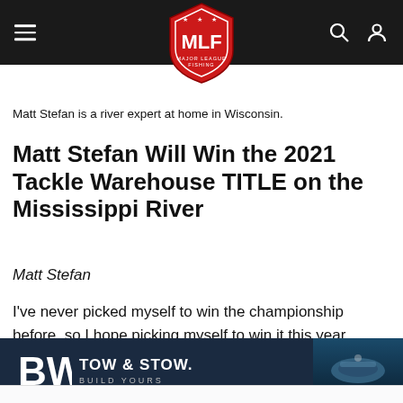MLF Major League Fishing - navigation bar
Matt Stefan is a river expert at home in Wisconsin.
Matt Stefan Will Win the 2021 Tackle Warehouse TITLE on the Mississippi River
Matt Stefan
I've never picked myself to win the championship before, so I hope picking myself to win it this year means I'll have a legitimate shot.  Plus, it doesn't hurt that we are going to the
We use Cookies to improve your browsing experience and help us improve our website. Our Privacy Policy and Terms of Service have changed. Click OK to agree.
[Figure (other): BW trailer advertisement — TOW & STOW. BUILD YOURS — with boat image on dark background]